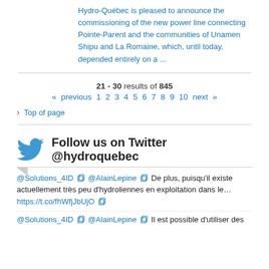Hydro-Québec is pleased to announce the commissioning of the new power line connecting Pointe-Parent and the communities of Unamen Shipu and La Romaine, which, until today, depended entirely on a ...
21 - 30 results of 845
« previous 1 2 3 4 5 6 7 8 9 10 next »
› Top of page
Follow us on Twitter @hydroquebec
@Solutions_4ID  @AlainLepine  De plus, puisqu'il existe actuellement très peu d'hydroliennes en exploitation dans le… https://t.co/fhWfjJbUjO
@Solutions_4ID  @AlainLepine  Il est possible d'utiliser des